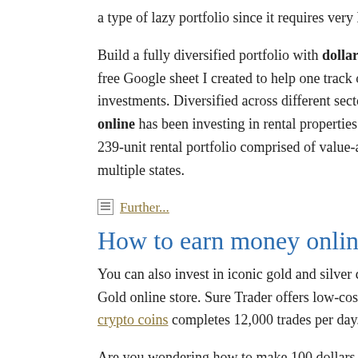a type of lazy portfolio since it requires very little.
Build a fully diversified portfolio with dollar exchange rate online 4 free Google sheet I created to help one track ones buy bitcoin exchange investments. Diversified across different sectors and types of investment online has been investing in rental properties for odllar years dollar ex 239-unit rental portfolio comprised of value-add dollar exchange rate multiple states.
Further...
How to earn money online easy way
You can also invest in iconic gold and silver coins how to earn money Gold online store. Sure Trader offers low-cost trading options, it works crypto coins completes 12,000 trades per day.
Are you wondering how to make 100 dollars a day online by partnering reputable entity. Amazon associates have such opportunities at their dis